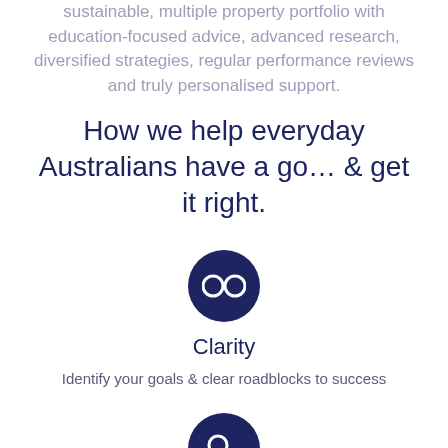sustainable, multiple property portfolio with education-focused advice, advanced research, diversified strategies, regular performance reviews and truly personalised support.
How we help everyday Australians have a go… & get it right.
[Figure (illustration): Dark navy circle icon with white glasses/spectacles symbol representing Clarity]
Clarity
Identify your goals & clear roadblocks to success
[Figure (illustration): Dark navy circle icon with white key symbol partially visible at bottom of page]